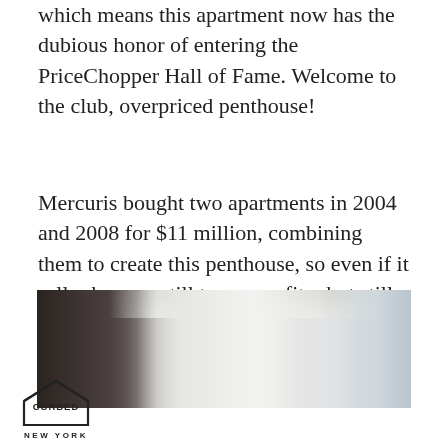which means this apartment now has the dubious honor of entering the PriceChopper Hall of Fame. Welcome to the club, overpriced penthouse!
Mercuris bought two apartments in 2004 and 2008 for $11 million, combining them to create this penthouse, so even if it sells she may still turn a profit—but still, a 62 percent discount is harsh.
[Figure (photo): Interior photo of a modern luxury penthouse showing dark wood cabinetry on the left, recessed ceiling with lighting, pendant lights, and bright open space to the right]
[Figure (logo): Curbed New York logo — house-shaped outline containing the word CURBED with text NEW YORK below]